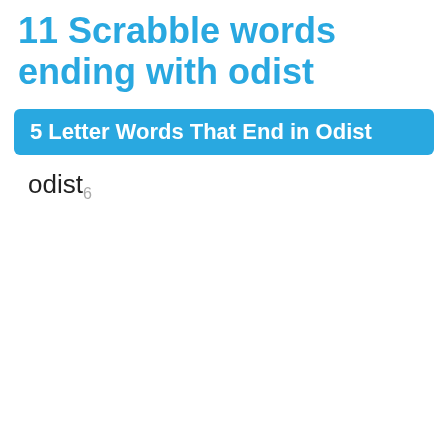11 Scrabble words ending with odist
5 Letter Words That End in Odist
odist₆